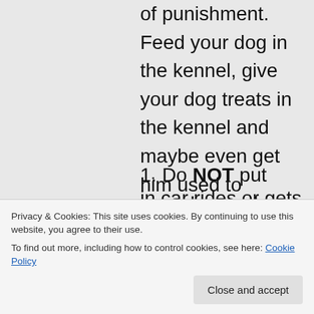of punishment. Feed your dog in the kennel, give your dog treats in the kennel and maybe even get him used to sleeping in there. I did a lot of research before flying with my dog and the best recommendation I got was the following:
1. Do NOT put your dog to sleep during the flight, this can increase the chances of him getting hurt when things move around.
2. Put some piece of clothing in the kennel that smells like you. This is supposed to
in car rides or gets over anxious, you can
Privacy & Cookies: This site uses cookies. By continuing to use this website, you agree to their use.
To find out more, including how to control cookies, see here: Cookie Policy